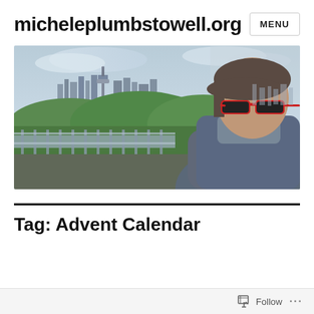micheleplumbstowell.org  MENU
[Figure (photo): Woman wearing red sunglasses and a blue/denim jacket standing in front of a metal railing with green trees and the Seattle skyline (including the Space Needle) visible in the background under a cloudy sky.]
Tag: Advent Calendar
Follow ...